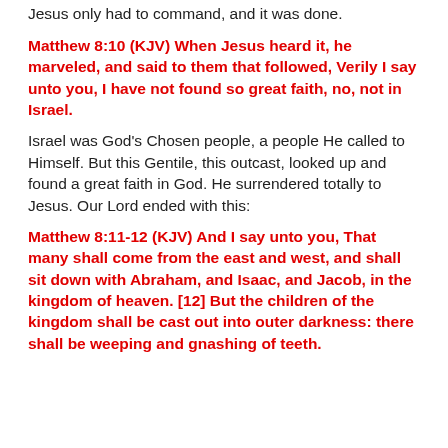Jesus only had to command, and it was done.
Matthew 8:10 (KJV) When Jesus heard it, he marveled, and said to them that followed, Verily I say unto you, I have not found so great faith, no, not in Israel.
Israel was God's Chosen people, a people He called to Himself. But this Gentile, this outcast, looked up and found a great faith in God. He surrendered totally to Jesus. Our Lord ended with this:
Matthew 8:11-12 (KJV) And I say unto you, That many shall come from the east and west, and shall sit down with Abraham, and Isaac, and Jacob, in the kingdom of heaven. [12] But the children of the kingdom shall be cast out into outer darkness: there shall be weeping and gnashing of teeth.